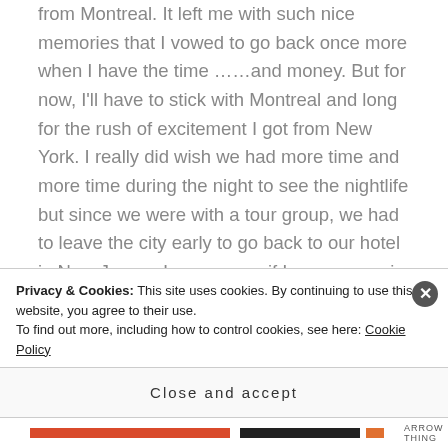from Montreal. It left me with such nice memories that I vowed to go back once more when I have the time ……and money. But for now, I'll have to stick with Montreal and long for the rush of excitement I got from New York. I really did wish we had more time and more time during the night to see the nightlife but since we were with a tour group, we had to leave the city early to go back to our hotel in New Jersey. In any case, if I ever go again, it'll be with my friends. Touring NYC with your family is just
Privacy & Cookies: This site uses cookies. By continuing to use this website, you agree to their use.
To find out more, including how to control cookies, see here: Cookie Policy
Close and accept